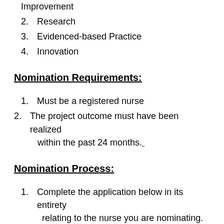Improvement
2. Research
3. Evidenced-based Practice
4. Innovation
Nomination Requirements:
1. Must be a registered nurse
2. The project outcome must have been realized within the past 24 months.
Nomination Process:
1. Complete the application below in its entirety relating to the nurse you are nominating. Please attach any supportive information in